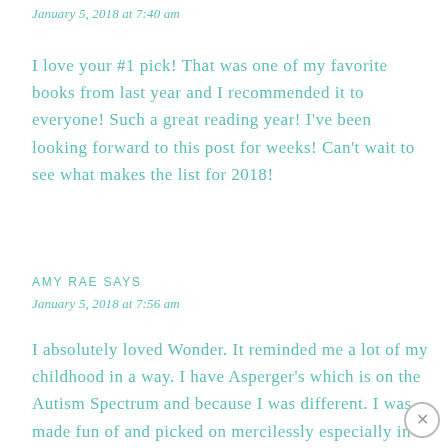January 5, 2018 at 7:40 am
I love your #1 pick! That was one of my favorite books from last year and I recommended it to everyone! Such a great reading year! I've been looking forward to this post for weeks! Can't wait to see what makes the list for 2018!
AMY RAE SAYS
January 5, 2018 at 7:56 am
I absolutely loved Wonder. It reminded me a lot of my childhood in a way. I have Asperger's which is on the Autism Spectrum and because I was different. I was made fun of and picked on mercilessly especially in middle school and 9th...